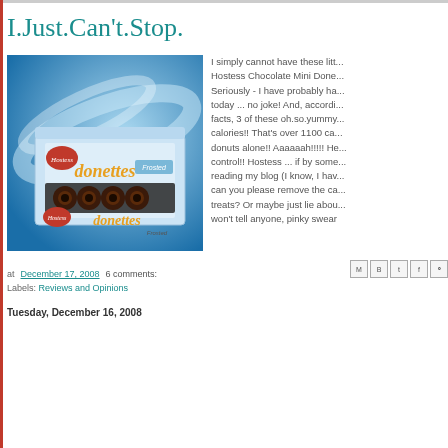I.Just.Can't.Stop.
[Figure (photo): Box of Hostess Donettes Frosted Chocolate Mini Donuts on a blue background]
I simply cannot have these litt... Hostess Chocolate Mini Done... Seriously - I have probably ha... today ... no joke! And, accordi... facts, 3 of these oh.so.yummy... calories!! That's over 1100 ca... donuts alone!! Aaaaaah!!!!! He... control!! Hostess ... if by some... reading my blog (I know, I hav... can you please remove the ca... treats? Or maybe just lie abou... won't tell anyone, pinky swear
at December 17, 2008   6 comments:
Labels: Reviews and Opinions
Tuesday, December 16, 2008